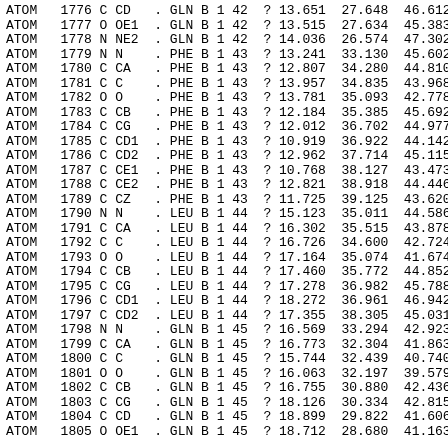| Record | Serial | Type | Atom | Alt | Res | Chain | Model | Seq | Ins | X | Y | Z |
| --- | --- | --- | --- | --- | --- | --- | --- | --- | --- | --- | --- | --- |
| ATOM | 1776 | C | CD | . | GLN | B | 1 | 42 | ? | 13.651 | 27.648 | 46.612 |
| ATOM | 1777 | O | OE1 | . | GLN | B | 1 | 42 | ? | 13.515 | 27.634 | 45.383 |
| ATOM | 1778 | N | NE2 | . | GLN | B | 1 | 42 | ? | 14.036 | 26.574 | 47.302 |
| ATOM | 1779 | N | N | . | PHE | B | 1 | 43 | ? | 13.241 | 33.130 | 45.602 |
| ATOM | 1780 | C | CA | . | PHE | B | 1 | 43 | ? | 12.807 | 34.280 | 44.810 |
| ATOM | 1781 | C | C | . | PHE | B | 1 | 43 | ? | 13.957 | 34.835 | 43.968 |
| ATOM | 1782 | O | O | . | PHE | B | 1 | 43 | ? | 13.781 | 35.093 | 42.778 |
| ATOM | 1783 | C | CB | . | PHE | B | 1 | 43 | ? | 12.184 | 35.385 | 45.692 |
| ATOM | 1784 | C | CG | . | PHE | B | 1 | 43 | ? | 12.012 | 36.702 | 44.977 |
| ATOM | 1785 | C | CD1 | . | PHE | B | 1 | 43 | ? | 10.919 | 36.922 | 44.142 |
| ATOM | 1786 | C | CD2 | . | PHE | B | 1 | 43 | ? | 12.962 | 37.714 | 45.115 |
| ATOM | 1787 | C | CE1 | . | PHE | B | 1 | 43 | ? | 10.768 | 38.127 | 43.473 |
| ATOM | 1788 | C | CE2 | . | PHE | B | 1 | 43 | ? | 12.821 | 38.918 | 44.446 |
| ATOM | 1789 | C | CZ | . | PHE | B | 1 | 43 | ? | 11.725 | 39.125 | 43.620 |
| ATOM | 1790 | N | N | . | LEU | B | 1 | 44 | ? | 15.123 | 35.011 | 44.586 |
| ATOM | 1791 | C | CA | . | LEU | B | 1 | 44 | ? | 16.302 | 35.515 | 43.878 |
| ATOM | 1792 | C | C | . | LEU | B | 1 | 44 | ? | 16.726 | 34.600 | 42.724 |
| ATOM | 1793 | O | O | . | LEU | B | 1 | 44 | ? | 17.164 | 35.074 | 41.674 |
| ATOM | 1794 | C | CB | . | LEU | B | 1 | 44 | ? | 17.460 | 35.772 | 44.852 |
| ATOM | 1795 | C | CG | . | LEU | B | 1 | 44 | ? | 17.278 | 36.982 | 45.788 |
| ATOM | 1796 | C | CD1 | . | LEU | B | 1 | 44 | ? | 18.272 | 36.961 | 46.942 |
| ATOM | 1797 | C | CD2 | . | LEU | B | 1 | 44 | ? | 17.355 | 38.305 | 45.031 |
| ATOM | 1798 | N | N | . | GLN | B | 1 | 45 | ? | 16.569 | 33.294 | 42.923 |
| ATOM | 1799 | C | CA | . | GLN | B | 1 | 45 | ? | 16.773 | 32.304 | 41.863 |
| ATOM | 1800 | C | C | . | GLN | B | 1 | 45 | ? | 15.744 | 32.439 | 40.740 |
| ATOM | 1801 | O | O | . | GLN | B | 1 | 45 | ? | 16.063 | 32.197 | 39.579 |
| ATOM | 1802 | C | CB | . | GLN | B | 1 | 45 | ? | 16.755 | 30.880 | 42.436 |
| ATOM | 1803 | C | CG | . | GLN | B | 1 | 45 | ? | 18.126 | 30.334 | 42.815 |
| ATOM | 1804 | C | CD | . | GLN | B | 1 | 45 | ? | 18.899 | 29.822 | 41.606 |
| ATOM | 1805 | O | OE1 | . | GLN | B | 1 | 45 | ? | 18.712 | 28.680 | 41.163 |